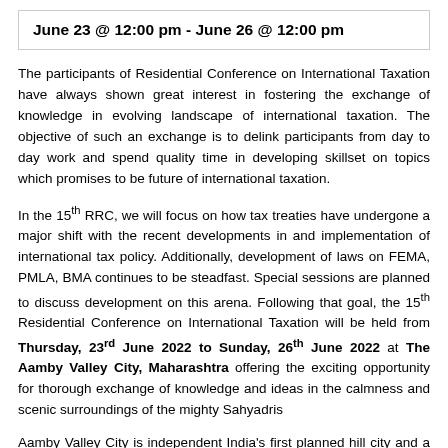June 23 @ 12:00 pm - June 26 @ 12:00 pm
The participants of Residential Conference on International Taxation have always shown great interest in fostering the exchange of knowledge in evolving landscape of international taxation. The objective of such an exchange is to delink participants from day to day work and spend quality time in developing skillset on topics which promises to be future of international taxation.
In the 15th RRC, we will focus on how tax treaties have undergone a major shift with the recent developments in and implementation of international tax policy. Additionally, development of laws on FEMA, PMLA, BMA continues to be steadfast. Special sessions are planned to discuss development on this arena. Following that goal, the 15th Residential Conference on International Taxation will be held from Thursday, 23rd June 2022 to Sunday, 26th June 2022 at The Aamby Valley City, Maharashtra offering the exciting opportunity for thorough exchange of knowledge and ideas in the calmness and scenic surroundings of the mighty Sahyadris
Aamby Valley City is independent India's first planned hill city and a creative expression of ingenuity. A fusion of nature and human creation which offers superior living spaces. This gated and secured destination is nestled amidst